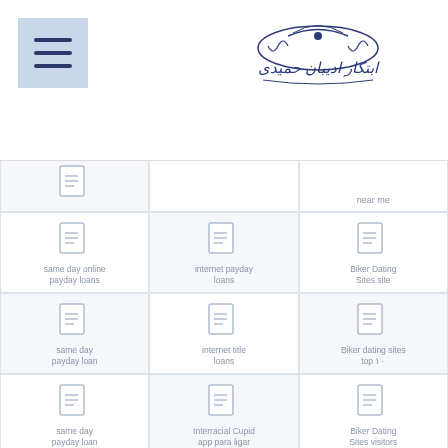[Figure (logo): Persian/Arabic decorative logo with ornate text]
[Figure (screenshot): Website grid/index page showing category links with document icons in a 3-column layout. Categories include: near me, same day online payday loans, internet payday loans, Biker Dating Sites site, same day payday loan, internet title loans, Biker dating sites top 10, same day payday loan online, Interracial Cupid app para ligar, Biker Dating Sites visitors, same day payday loans, interracial cupid search, bikerplanet fr]